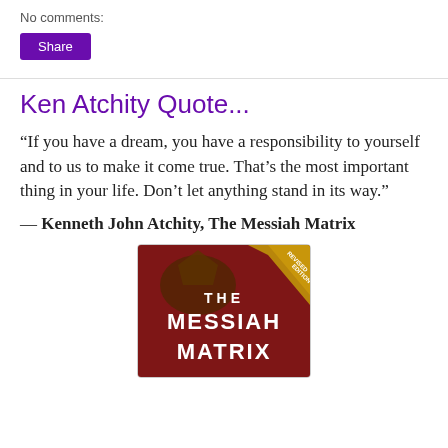No comments:
Share
Ken Atchity Quote...
“If you have a dream, you have a responsibility to yourself and to us to make it come true. That’s the most important thing in your life. Don’t let anything stand in its way.”
— Kenneth John Atchity, The Messiah Matrix
[Figure (illustration): Book cover of The Messiah Matrix by Kenneth John Atchity. Red background with dark ornamental design and bold white text reading THE MESSIAH MATRIX. A gold banner in the upper right corner reads REVISED EDITION.]